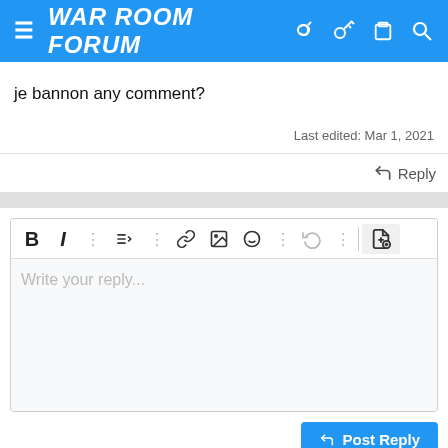WAR ROOM FORUM
je bannon any comment?
Last edited: Mar 1, 2021
Reply
[Figure (screenshot): Reply text editor toolbar with bold, italic, list, link, image, emoji, undo, and other formatting buttons, with placeholder text 'Write your reply...']
Post Reply